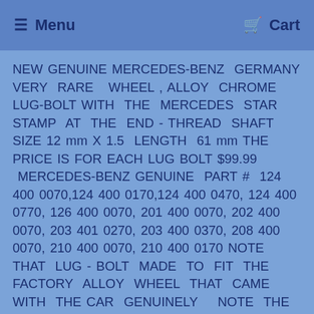Menu  Cart
NEW GENUINE MERCEDES-BENZ GERMANY VERY RARE WHEEL , ALLOY CHROME LUG-BOLT WITH THE MERCEDES STAR STAMP AT THE END - THREAD SHAFT SIZE 12 mm X 1.5 LENGTH 61 mm THE PRICE IS FOR EACH LUG BOLT $99.99 MERCEDES-BENZ GENUINE PART # 124 400 0070,124 400 0170,124 400 0470, 124 400 0770, 126 400 0070, 201 400 0070, 202 400 0070, 203 401 0270, 203 400 0370, 208 400 0070, 210 400 0070, 210 400 0170 NOTE THAT LUG - BOLT MADE TO FIT THE FACTORY ALLOY WHEEL THAT CAME WITH THE CAR GENUINELY NOTE THE RIGHT WAY TO KEEP THIS TYPE OF CHROME LUG BOLT AT A PERFECT CONDITION ARE TO ALWAYS REMOVE & REPLACE BY HAND - TOOL , 17mm 6 POINT